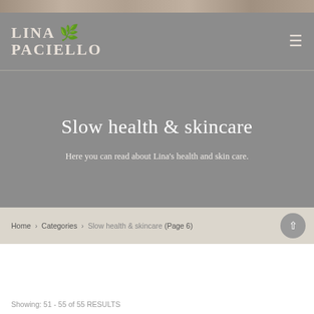[Figure (photo): Top decorative image bar showing a blurred natural/brown background]
LINA PACIELLO — logo with hamburger menu icon
Slow health & skincare
Here you can read about Lina's health and skin care.
Home › Categories › Slow health & skincare (Page 6)
Showing: 51 - 55 of 55 RESULTS